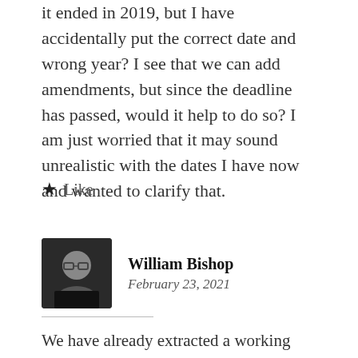it ended in 2019, but I have accidentally put the correct date and wrong year? I see that we can add amendments, but since the deadline has passed, would it help to do so? I am just worried that it may sound unrealistic with the dates I have now and wanted to clarify that.
★ Like
William Bishop
February 23, 2021
We have already extracted a working copy of the AIF data from the system and we have already started working with the AIF